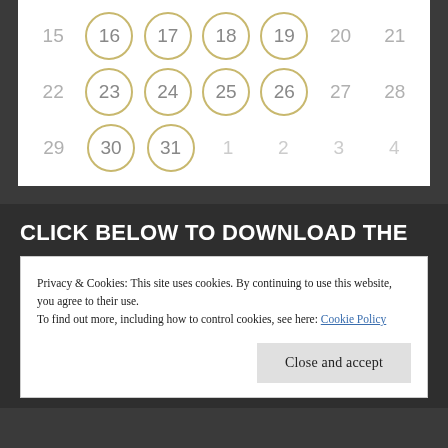[Figure (other): Calendar grid showing dates 15-31 and 1-4, with dates 16, 17, 18, 19, 23, 24, 25, 26, 30, 31 circled in olive/gold color. Remaining dates 15, 20-22, 27-29 shown in gray, and 1-4 shown as faded next-month dates.]
CLICK BELOW TO DOWNLOAD THE
Privacy & Cookies: This site uses cookies. By continuing to use this website, you agree to their use.
To find out more, including how to control cookies, see here: Cookie Policy
Close and accept